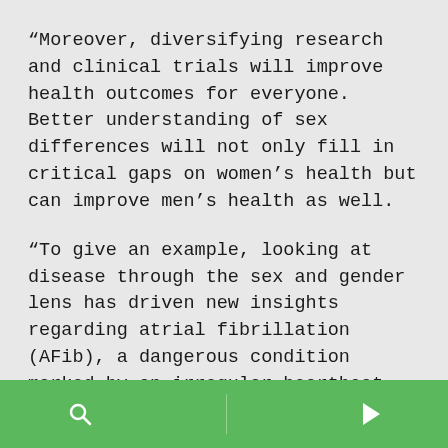“Moreover, diversifying research and clinical trials will improve health outcomes for everyone. Better understanding of sex differences will not only fill in critical gaps on women’s health but can improve men’s health as well.
“To give an example, looking at disease through the sex and gender lens has driven new insights regarding atrial fibrillation (AFib), a dangerous condition marked by an irregular heartbeat that can lead to stroke, blood clots, heart failure and other heart complications. For many years, research failed to find an association between physical activity and AFib. Once researchers stratified their research findings by sex, they